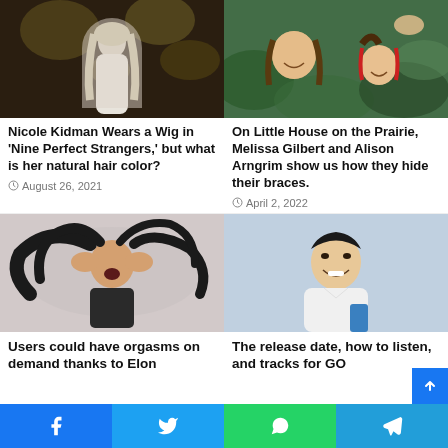[Figure (photo): Nicole Kidman in white dress with long blonde hair, dark bokeh background]
Nicole Kidman Wears a Wig in ‘Nine Perfect Strangers,’ but what is her natural hair color?
August 26, 2021
[Figure (photo): Melissa Gilbert and Alison Arngrim smiling outdoors, one with red ribbons in hair]
On Little House on the Prairie, Melissa Gilbert and Alison Arngrim show us how they hide their braces.
April 2, 2022
[Figure (photo): Woman lying on back with black hair spread, hands on face, mouth open]
Users could have orgasms on demand thanks to Elon
[Figure (photo): Young Asian man in white shirt smiling against grey background]
The release date, how to listen, and tracks for GO